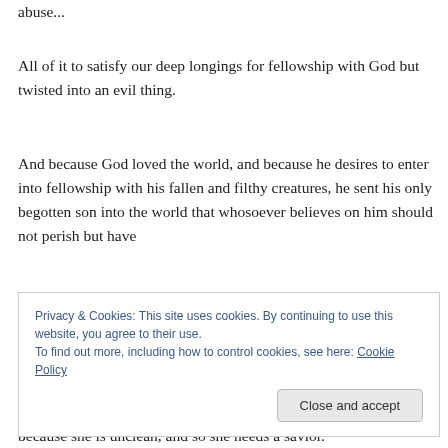abuse...
All of it to satisfy our deep longings for fellowship with God but twisted into an evil thing.
And because God loved the world, and because he desires to enter into fellowship with his fallen and filthy creatures, he sent his only begotten son into the world that whosoever believes on him should not perish but have
Privacy & Cookies: This site uses cookies. By continuing to use this website, you agree to their use.
To find out more, including how to control cookies, see here: Cookie Policy
because she is unclean, and so she needs a savior.